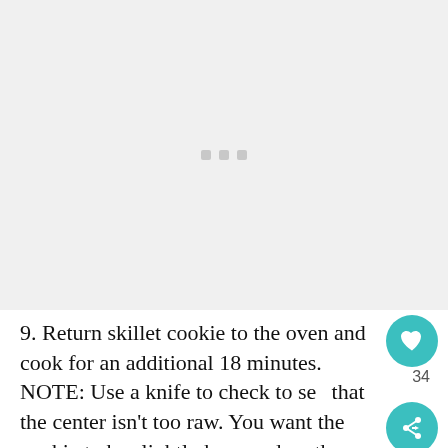[Figure (photo): Large image placeholder showing a loading indicator with three small grey squares in the center on a light grey background]
9. Return skillet cookie to the oven and cook for an additional 18 minutes. NOTE: Use a knife to check to see that the center isn't too raw. You want the cookie to be slightly browned on the edges but not raw in the center. Depending on your size skillet, you may need to add